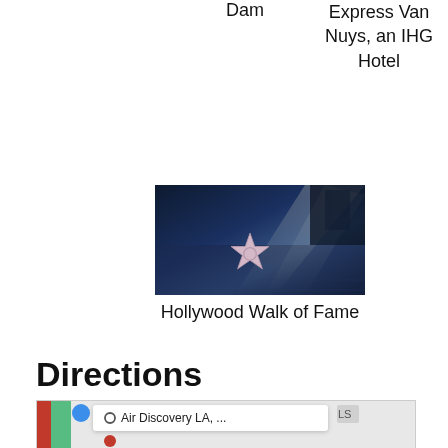Dam
Express Van Nuys, an IHG Hotel
[Figure (photo): Photo of a Hollywood Walk of Fame star on the sidewalk with sunlight shining through]
Hollywood Walk of Fame
Directions
[Figure (screenshot): Google Maps screenshot showing route with Air Discovery LA listed and a red pin destination, with LS label visible]